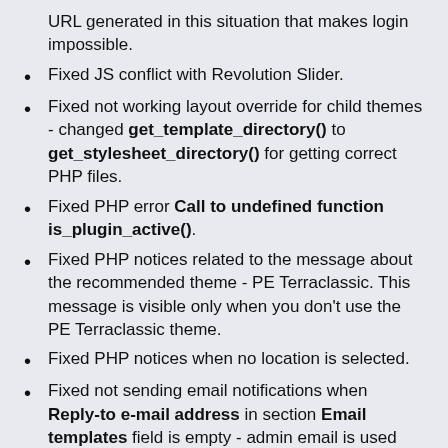URL generated in this situation that makes login impossible.
Fixed JS conflict with Revolution Slider.
Fixed not working layout override for child themes - changed get_template_directory() to get_stylesheet_directory() for getting correct PHP files.
Fixed PHP error Call to undefined function is_plugin_active().
Fixed PHP notices related to the message about the recommended theme - PE Terraclassic. This message is visible only when you don't use the PE Terraclassic theme.
Fixed PHP notices when no location is selected.
Fixed not sending email notifications when Reply-to e-mail address in section Email templates field is empty - admin email is used instead.
Fixed missing action Move to trash and button Trash in the Wordpress dashboard - issue related to